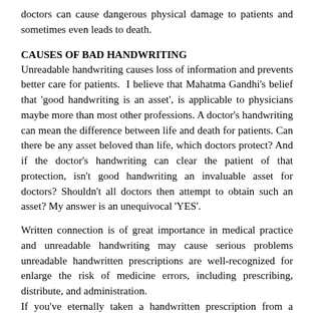doctors can cause dangerous physical damage to patients and sometimes even leads to death.
CAUSES OF BAD HANDWRITING
Unreadable handwriting causes loss of information and prevents better care for patients. I believe that Mahatma Gandhi's belief that 'good handwriting is an asset', is applicable to physicians maybe more than most other professions. A doctor's handwriting can mean the difference between life and death for patients. Can there be any asset beloved than life, which doctors protect? And if the doctor's handwriting can clear the patient of that protection, isn't good handwriting an invaluable asset for doctors? Shouldn't all doctors then attempt to obtain such an asset? My answer is an unequivocal 'YES'.
Written connection is of great importance in medical practice and unreadable handwriting may cause serious problems unreadable handwritten prescriptions are well-recognized for enlarge the risk of medicine errors, including prescribing, distribute, and administration.
If you've eternally taken a handwritten prescription from a doctor or looked at the notes from your visit, it seems like no amount of squinting could help the letters get clearer. It's not like only people with bad handwriting are related to the medical field.
Doctors' prescription isn't just a conductor for patients but also